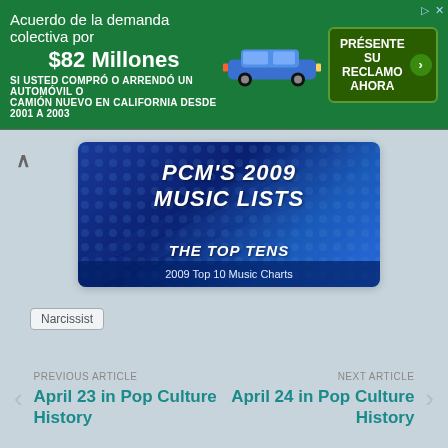[Figure (screenshot): Advertisement banner in Spanish for a class action settlement involving automobile purchases in California from 2001 to 2003, mentioning $82 Millones settlement amount, with a blue car image and green CTA button 'PRESENTE SU RECLAMO AHORA']
[Figure (illustration): PCM's 2009 Music Lists - The Top Tens promotional image on blue decorative background]
2009 Top 10 Music Charts
Narcissist
PREVIOUS ARTICLE
April 23 in Pop Culture History
NEXT ARTICLE
April 24 in Pop Culture History